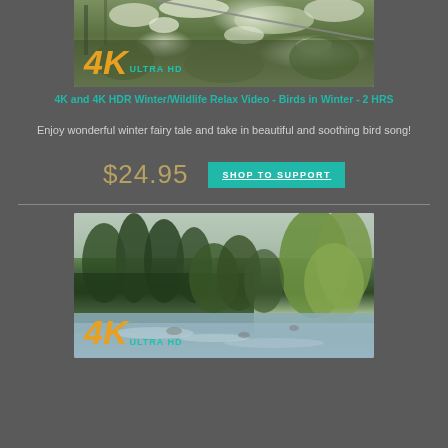[Figure (photo): 4K Ultra HD video thumbnail showing snow-covered branches and winter scene with '4K ULTRA HD' badge in orange and teal]
4K and 4K HDR Winter/Wildlife Relax Video - Birds in Winter - 2 HRS
Enjoy wonderful winter fairy tale and take in beautiful and soothing bird song!
$24.95
SHOP TO SUPPORT
[Figure (photo): 4K Ultra HD video thumbnail showing a river with green trees and forest - nature relaxation video with '4K ULTRA HD' badge]